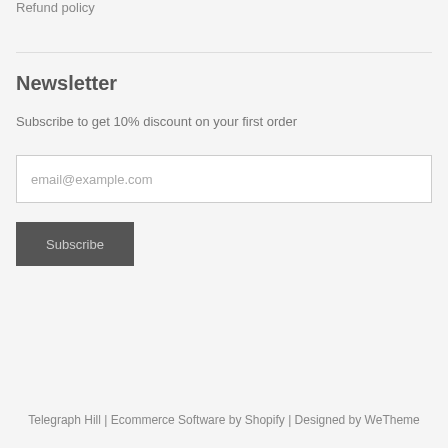Refund policy
Newsletter
Subscribe to get 10% discount on your first order
email@example.com
Subscribe
Telegraph Hill | Ecommerce Software by Shopify | Designed by WeTheme